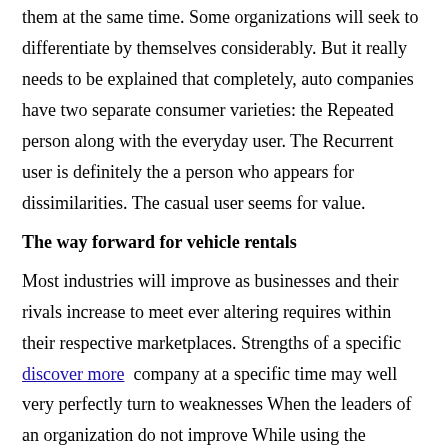them at the same time. Some organizations will seek to differentiate by themselves considerably. But it really needs to be explained that completely, auto companies have two separate consumer varieties: the Repeated person along with the everyday user. The Recurrent user is definitely the a person who appears for dissimilarities. The casual user seems for value.
The way forward for vehicle rentals
Most industries will improve as businesses and their rivals increase to meet ever altering requires within their respective marketplaces. Strengths of a specific discover more company at a specific time may well very perfectly turn to weaknesses When the leaders of an organization do not improve While using the situations. The enterprise of motor vehicle rentals isn't any distinct. After a market place dominated by just a few businesses has developed to incorporate a lot of far more competition that supply many different new products and services. People who will survive and prosper will be those from a position to progress and adapt from one thing that'll...